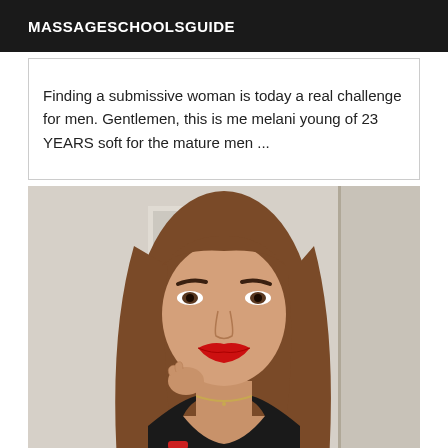MASSAGESCHOOLSGUIDE
Finding a submissive woman is today a real challenge for men. Gentlemen, this is me melani young of 23 YEARS soft for the mature men ...
[Figure (photo): Portrait photo of a young woman with long straight brown hair, red lipstick, wearing a black top, holding her hair, standing in front of a white wall.]